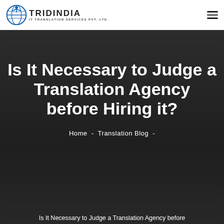TRIDINDIA IT TRANSLATION SERVICES PVT. LTD.
Is It Necessary to Judge a Translation Agency before Hiring it?
Home - Translation Blog -
Is It Necessary to Judge a Translation Agency before